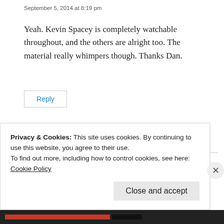September 5, 2014 at 8:19 pm
Yeah. Kevin Spacey is completely watchable throughout, and the others are alright too. The material really whimpers though. Thanks Dan.
Reply
Three Down Rock
Privacy & Cookies: This site uses cookies. By continuing to use this website, you agree to their use.
To find out more, including how to control cookies, see here:
Cookie Policy
Close and accept